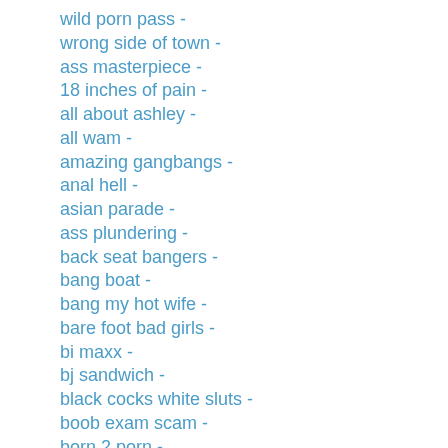wild porn pass -
wrong side of town -
ass masterpiece -
18 inches of pain -
all about ashley -
all wam -
amazing gangbangs -
anal hell -
asian parade -
ass plundering -
back seat bangers -
bang boat -
bang my hot wife -
bare foot bad girls -
bi maxx -
bj sandwich -
black cocks white sluts -
boob exam scam -
born 2 porn -
bottom lickers -
brown hair girls -
brutal blowjobs -
bubble butt orgy -